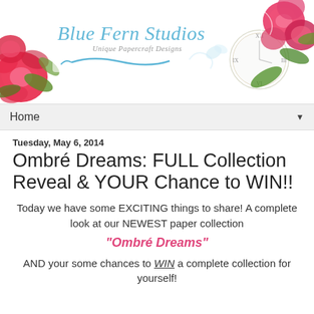[Figure (illustration): Blue Fern Studios logo banner with pink roses and floral decoration, clock imagery on the right, and cursive script logo text reading 'Blue Fern Studios – Unique Papercraft Designs']
Home ▼
Tuesday, May 6, 2014
Ombré Dreams: FULL Collection Reveal & YOUR Chance to WIN!!
Today we have some EXCITING things to share! A complete look at our NEWEST paper collection
"Ombré Dreams"
AND your some chances to WIN a complete collection for yourself!